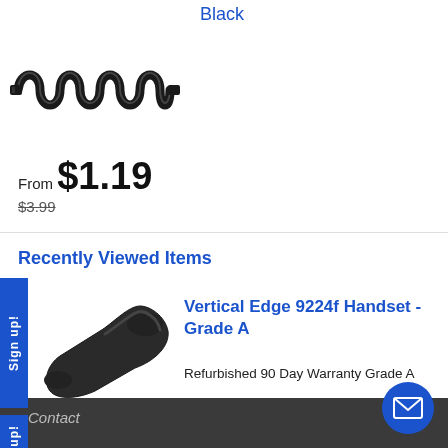[Figure (photo): Black coiled telephone handset cord, stretched out, on white background]
Black
From $1.19
$3.99
Recently Viewed Items
[Figure (photo): Black telephone handset for Vertical Edge 9224f phone]
Vertical Edge 9224f Handset - Grade A
Refurbished 90 Day Warranty Grade A
Limited
Contact